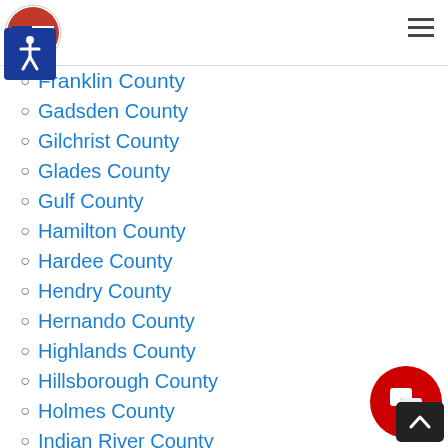Navigation header with logo and hamburger menu
Franklin County
Gadsden County
Gilchrist County
Glades County
Gulf County
Hamilton County
Hardee County
Hendry County
Hernando County
Highlands County
Hillsborough County
Holmes County
Indian River County
Jackson County
Jefferson County